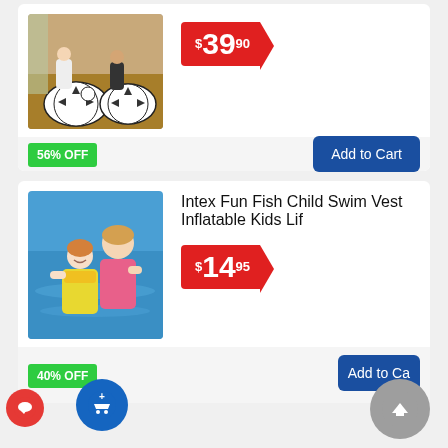[Figure (photo): Two people sitting on inflatable soccer ball chairs]
$39.90
56% OFF
Add to Cart
[Figure (photo): Woman and child in pool wearing swim vest]
Intex Fun Fish Child Swim Vest Inflatable Kids Lif
$14.95
40% OFF
Add to Ca...